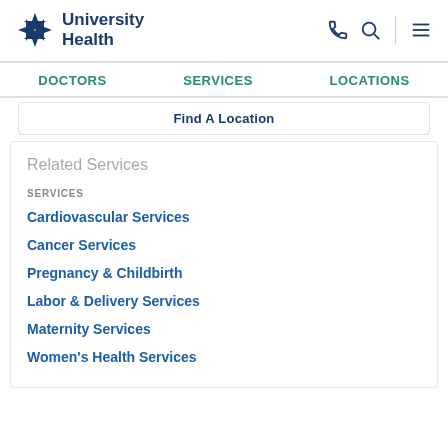University Health
DOCTORS   SERVICES   LOCATIONS
Find A Location
Related Services
SERVICES
Cardiovascular Services
Cancer Services
Pregnancy & Childbirth
Labor & Delivery Services
Maternity Services
Women's Health Services